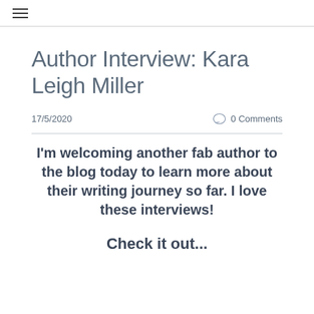≡
Author Interview: Kara Leigh Miller
17/5/2020   0 Comments
I'm welcoming another fab author to the blog today to learn more about their writing journey so far. I love these interviews!
Check it out...